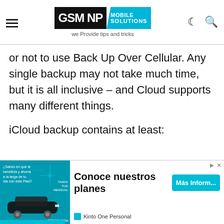GSM NP MOBILE SOLUTIONS – we Provide tips and tricks
or not to use Back Up Over Cellular. Any single backup may not take much time, but it is all inclusive – and Cloud supports many different things.
iCloud backup contains at least:
[Figure (other): Advertisement banner: Toyota Kinto One Personal – Conoce nuestros planes with Más Inform... button]